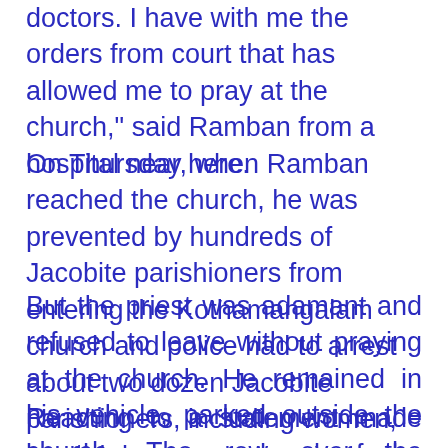doctors. I have with me the orders from court that has allowed me to pray at the church," said Ramban from a hospital near here.
On Thursday, when Ramban reached the church, he was prevented by hundreds of Jacobite parishioners from entering the Kothamangalam church and police had to arrest about two dozen Jacobite parishioners, including women, to cool down tempers.
But the priest was adamant and refused to leave without praying at the church. He remained in his vehicle, parked outside the church. The row over the particular church has been going on for many years.
Reacting to a statement made by the supreme head of the Jacobite Church, Catholicos Baselios Thomas, the supreme head of the Orthodox Church